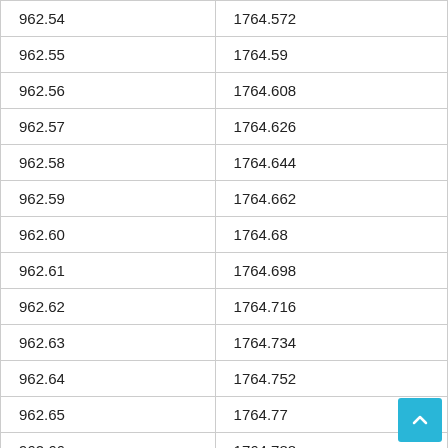| 962.54 | 1764.572 |
| 962.55 | 1764.59 |
| 962.56 | 1764.608 |
| 962.57 | 1764.626 |
| 962.58 | 1764.644 |
| 962.59 | 1764.662 |
| 962.60 | 1764.68 |
| 962.61 | 1764.698 |
| 962.62 | 1764.716 |
| 962.63 | 1764.734 |
| 962.64 | 1764.752 |
| 962.65 | 1764.77 |
| 962.66 | 1764.788 |
| 962.67 | 1764.806 |
| 962.68 | 1764.824 |
| 962.69 | 1764.842 |